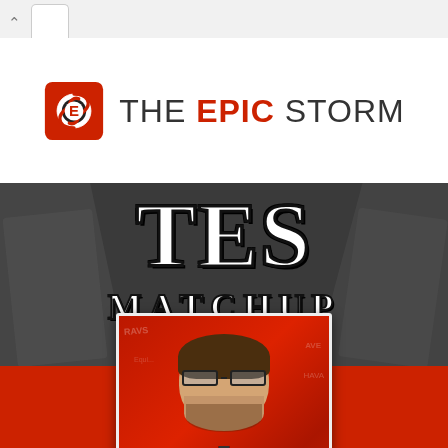[Figure (screenshot): Browser tab bar with back arrow and white tab]
[Figure (logo): The Epic Storm logo: red square with hurricane E icon, text 'THE EPIC STORM']
[Figure (photo): Hero section with dark background showing Magic: The Gathering cards blurred on sides, large 'TES' text in varsity style, 'MATCHUP' subtitle, and a player photo card showing a young man with glasses and beard smiling, wearing a suit with a medallion, against a red card-art background]